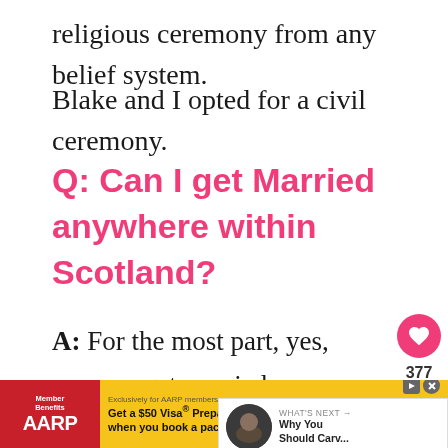religious ceremony from any belief system.
Blake and I opted for a civil ceremony.
Q: Can I get Married anywhere within Scotland?
A: For the most part, yes, you can get married anywhere in Scotland, but there are specific requirements, depending on whether you have a religious cere...
[Figure (infographic): Social interaction sidebar with heart/like button showing 377 likes and a share button]
[Figure (infographic): What's Next widget showing a thumbnail and text 'Why You Should Carv...' with label 'WHAT'S NEXT →']
[Figure (infographic): AARP advertisement banner: Get a $50 Visa Prepaid Card when you book a package at AARP Travel Center, exclusively for AARP members. Book now button.]